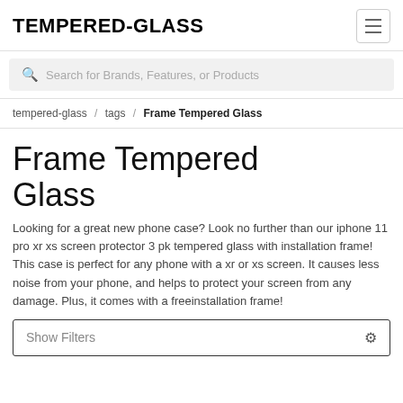TEMPERED-GLASS
Search for Brands, Features, or Products
tempered-glass / tags / Frame Tempered Glass
Frame Tempered Glass
Looking for a great new phone case? Look no further than our iphone 11 pro xr xs screen protector 3 pk tempered glass with installation frame! This case is perfect for any phone with a xr or xs screen. It causes less noise from your phone, and helps to protect your screen from any damage. Plus, it comes with a freeinstallation frame!
Show Filters